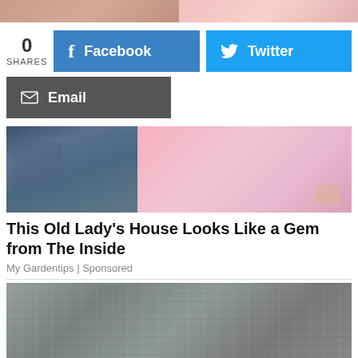[Figure (photo): Partial top image — two panels side by side, appears to show people, cropped at top]
0 SHARES
[Figure (infographic): Facebook share button (blue) with f icon]
[Figure (infographic): Twitter share button (cyan) with bird icon]
[Figure (infographic): Email share button (dark gray) with envelope icon]
[Figure (photo): Split image: left panel shows blue/dark clothing closeup, right panel shows pink room interior with decorative items]
This Old Lady's House Looks Like a Gem from The Inside
My Gardentips | Sponsored
[Figure (photo): Construction or excavation site showing concrete walls with reinforcement rods and disturbed earth]